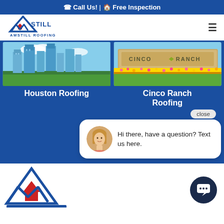📞 Call Us! | 🏠 Free Inspection
[Figure (logo): Amstill Roofing logo with triangle/house icon and text AMSTILL ROOFING]
[Figure (photo): Houston city skyline with glass skyscrapers and green park in foreground]
[Figure (photo): Cinco Ranch neighborhood entrance sign with flowers and landscaping]
Houston Roofing
Cinco Ranch Roofing
close
Hi there, have a question? Text us here.
[Figure (logo): Amstill Roofing small logo at bottom left]
[Figure (illustration): Dark circular chat/message button icon at bottom right]